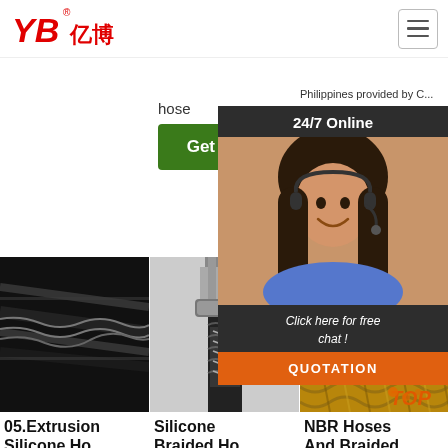[Figure (logo): YB亿博 company logo in red with registered trademark symbol]
hose
Philippines provided by C... man... HEI...
Get Price
G...
24/7 Online
[Figure (photo): Customer service representative with headset, dark hair, smiling]
Click here for free chat !
QUOTATION
[Figure (photo): Close-up of black braided/extruded silicone hose]
[Figure (photo): Silicone braided hose with metal fitting/connector]
[Figure (photo): NBR braided hose in golden/tan color with TOP logo]
05.Extrusion Silicone Hose
Silicone Braided Hose
NBR Hoses And Braided...